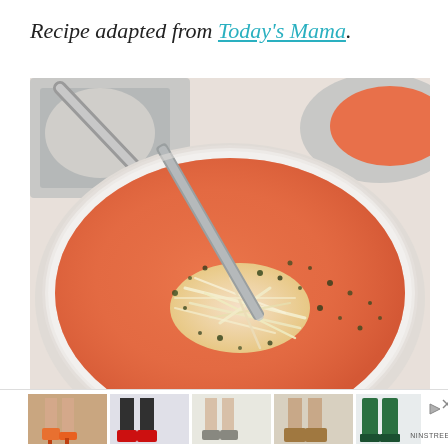Recipe adapted from Today's Mama.
[Figure (photo): A close-up photo of a bowl of creamy tomato soup topped with shredded cheese and dried herb seasoning, with a spoon in the bowl. Another bowl of soup is visible in the upper right corner.]
[Figure (photo): Advertisement banner showing five thumbnail images of women's shoes/feet, with a play button icon, an X close button, and the Ninstree logo.]